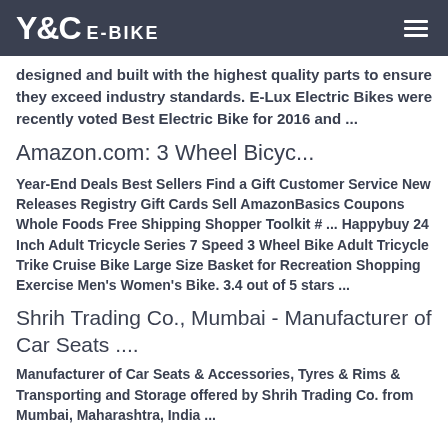Y&C E-BIKE
designed and built with the highest quality parts to ensure they exceed industry standards. E-Lux Electric Bikes were recently voted Best Electric Bike for 2016 and ...
Amazon.com: 3 Wheel Bicyc...
Year-End Deals Best Sellers Find a Gift Customer Service New Releases Registry Gift Cards Sell AmazonBasics Coupons Whole Foods Free Shipping Shopper Toolkit # ... Happybuy 24 Inch Adult Tricycle Series 7 Speed 3 Wheel Bike Adult Tricycle Trike Cruise Bike Large Size Basket for Recreation Shopping Exercise Men's Women's Bike. 3.4 out of 5 stars ...
Shrih Trading Co., Mumbai - Manufacturer of Car Seats ....
Manufacturer of Car Seats & Accessories, Tyres & Rims & Transporting and Storage offered by Shrih Trading Co. from Mumbai, Maharashtra, India ...